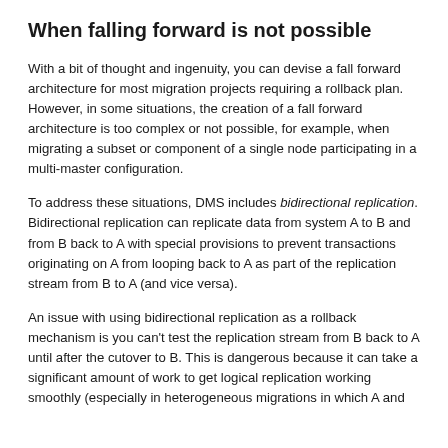When falling forward is not possible
With a bit of thought and ingenuity, you can devise a fall forward architecture for most migration projects requiring a rollback plan. However, in some situations, the creation of a fall forward architecture is too complex or not possible, for example, when migrating a subset or component of a single node participating in a multi-master configuration.
To address these situations, DMS includes bidirectional replication. Bidirectional replication can replicate data from system A to B and from B back to A with special provisions to prevent transactions originating on A from looping back to A as part of the replication stream from B to A (and vice versa).
An issue with using bidirectional replication as a rollback mechanism is you can't test the replication stream from B back to A until after the cutover to B. This is dangerous because it can take a significant amount of work to get logical replication working smoothly (especially in heterogeneous migrations in which A and